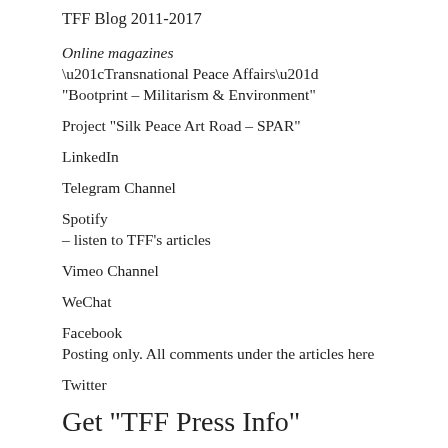TFF Blog 2011-2017
Online magazines
“Transnational Peace Affairs”
“Bootprint – Militarism & Environment”
Project “Silk Peace Art Road – SPAR”
LinkedIn
Telegram Channel
Spotify
– listen to TFF’s articles
Vimeo Channel
WeChat
Facebook
Posting only. All comments under the articles here
Twitter
Get “TFF Press Info”